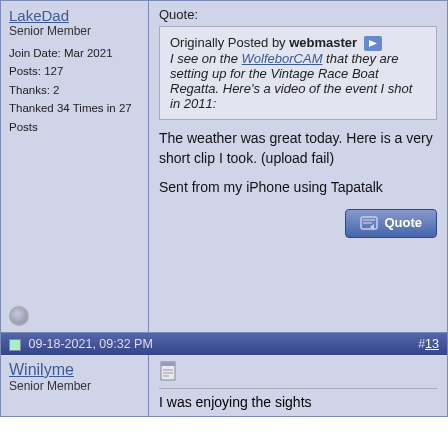LakeDad
Senior Member
Join Date: Mar 2021
Posts: 127
Thanks: 2
Thanked 34 Times in 27 Posts
Quote:
Originally Posted by webmaster
I see on the WolfeborCAM that they are setting up for the Vintage Race Boat Regatta. Here's a video of the event I shot in 2011:
The weather was great today. Here is a very short clip I took. (upload fail)
Sent from my iPhone using Tapatalk
09-18-2021, 09:32 PM
#13
Winilyme
Senior Member
I was enjoying the sights